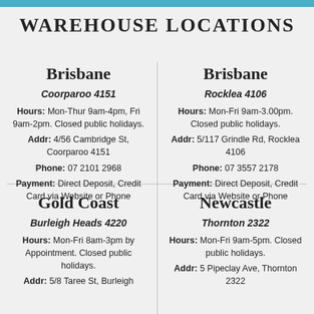WAREHOUSE LOCATIONS
Brisbane
Coorparoo 4151
Hours: Mon-Thur 9am-4pm, Fri 9am-2pm. Closed public holidays.
Addr: 4/56 Cambridge St, Coorparoo 4151
Phone: 07 2101 2968
Payment: Direct Deposit, Credit Card via Website or Phone
Brisbane
Rocklea 4106
Hours: Mon-Fri 9am-3.00pm. Closed public holidays.
Addr: 5/117 Grindle Rd, Rocklea 4106
Phone: 07 3557 2178
Payment: Direct Deposit, Credit Card via Website or Phone
Gold Coast
Burleigh Heads 4220
Hours: Mon-Fri 8am-3pm by Appointment. Closed public holidays.
Addr: 5/8 Taree St, Burleigh
Newcastle
Thornton 2322
Hours: Mon-Fri 9am-5pm. Closed public holidays.
Addr: 5 Pipeclay Ave, Thornton 2322